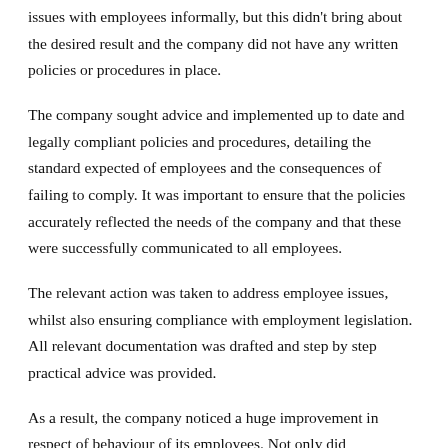issues with employees informally, but this didn't bring about the desired result and the company did not have any written policies or procedures in place.
The company sought advice and implemented up to date and legally compliant policies and procedures, detailing the standard expected of employees and the consequences of failing to comply. It was important to ensure that the policies accurately reflected the needs of the company and that these were successfully communicated to all employees.
The relevant action was taken to address employee issues, whilst also ensuring compliance with employment legislation. All relevant documentation was drafted and step by step practical advice was provided.
As a result, the company noticed a huge improvement in respect of behaviour of its employees. Not only did productivity increase, the